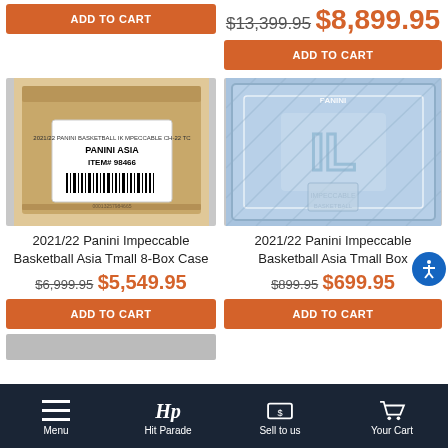[Figure (screenshot): ADD TO CART button on left column (top)]
$13,399.95  $8,899.95
[Figure (screenshot): ADD TO CART button on right column (top)]
[Figure (photo): Cardboard box with Panini Asia label, ITEM# 98466 barcode]
[Figure (photo): 2021/22 Panini Impeccable Basketball Asia Tmall Box in blue packaging]
2021/22 Panini Impeccable Basketball Asia Tmall 8-Box Case
$6,999.95  $5,549.95
[Figure (screenshot): ADD TO CART button for 8-Box Case]
2021/22 Panini Impeccable Basketball Asia Tmall Box
$899.95  $699.95
[Figure (screenshot): ADD TO CART button for Tmall Box]
Menu  Hit Parade  Sell to us  Your Cart